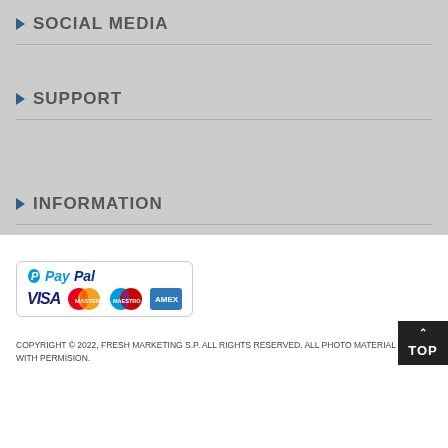SOCIAL MEDIA
SUPPORT
INFORMATION
[Figure (logo): PayPal payment logo with VISA, MasterCard, Maestro, and American Express card icons]
COPYRIGHT © 2022, FRESH MARKETING S.P. ALL RIGHTS RESERVED. ALL PHOTO MATERIAL USED WITH PERMISION.